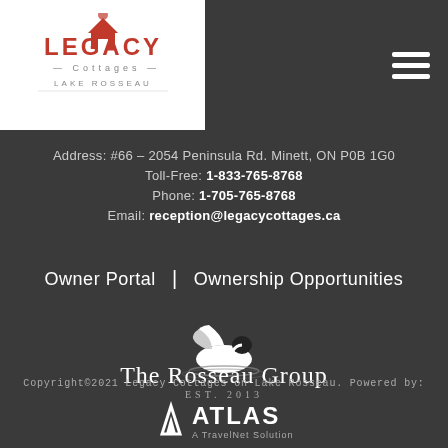[Figure (logo): Legacy Cottages logo with red cottage icon and text 'LEGACY Cottages LAKE ROSSEAU' on white background]
[Figure (logo): Hamburger menu icon (three white horizontal lines) on dark background]
Address: #66 – 2054 Peninsula Rd. Minett, ON P0B 1G0
Toll-Free: 1-833-765-8768
Phone: 1-705-765-8768
Email: reception@legacycottages.ca
Owner Portal | Ownership Opportunities
[Figure (logo): The Rosseau Group logo with a loon/duck bird illustration and text 'The Rosseau Group EST. 2013']
Copyright©2021 Legacy Cottages on Lake Rosseau. Powered by:
[Figure (logo): ATLAS A TravelNet Solution logo with triangular A icon]